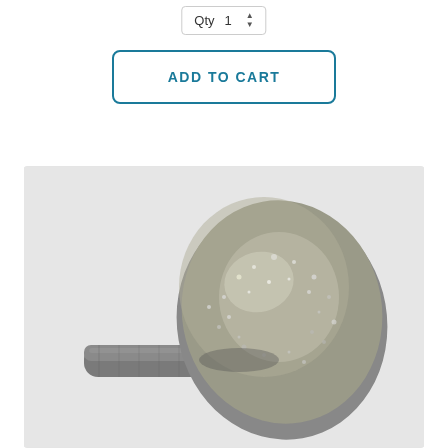Qty 1
ADD TO CART
[Figure (photo): Diamond grinding wheel/burr with an elliptical/egg-shaped head coated in diamond abrasive grit, mounted on a cylindrical metal shank. The tool is photographed against a light grey background.]